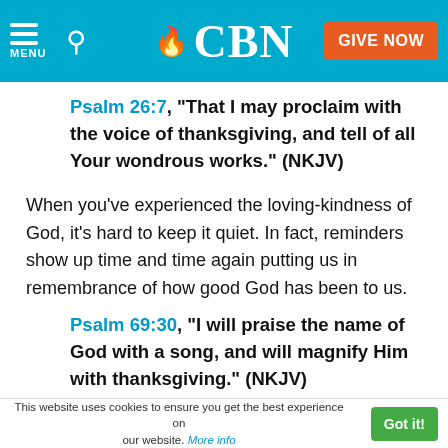CBN — MENU, Search, GIVE NOW
Psalm 26:7, "That I may proclaim with the voice of thanksgiving, and tell of all Your wondrous works." (NKJV)
When you've experienced the loving-kindness of God, it's hard to keep it quiet. In fact, reminders show up time and time again putting us in remembrance of how good God has been to us.
Psalm 69:30, "I will praise the name of God with a song, and will magnify Him with thanksgiving." (NKJV)
This website uses cookies to ensure you get the best experience on our website. More info   Got it!